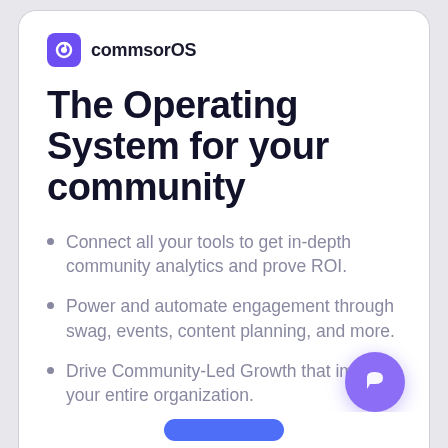commsorOS
The Operating System for your community
Connect all your tools to get in-depth community analytics and prove ROI.
Power and automate engagement through swag, events, content planning, and more.
Drive Community-Led Growth that impacts your entire organization.